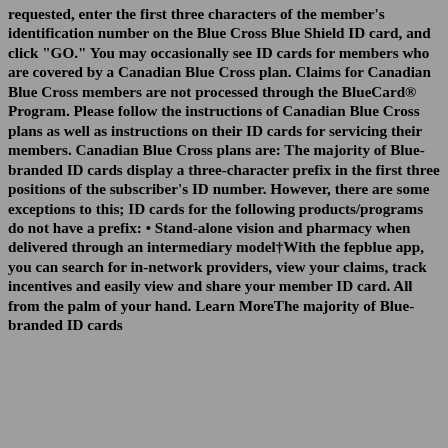requested, enter the first three characters of the member's identification number on the Blue Cross Blue Shield ID card, and click "GO." You may occasionally see ID cards for members who are covered by a Canadian Blue Cross plan. Claims for Canadian Blue Cross members are not processed through the BlueCard® Program. Please follow the instructions of Canadian Blue Cross plans as well as instructions on their ID cards for servicing their members. Canadian Blue Cross plans are: The majority of Blue-branded ID cards display a three-character prefix in the first three positions of the subscriber's ID number. However, there are some exceptions to this; ID cards for the following products/programs do not have a prefix: • Stand-alone vision and pharmacy when delivered through an intermediary model†With the fepblue app, you can search for in-network providers, view your claims, track incentives and easily view and share your member ID card. All from the palm of your hand. Learn MoreThe majority of Blue-branded ID cards